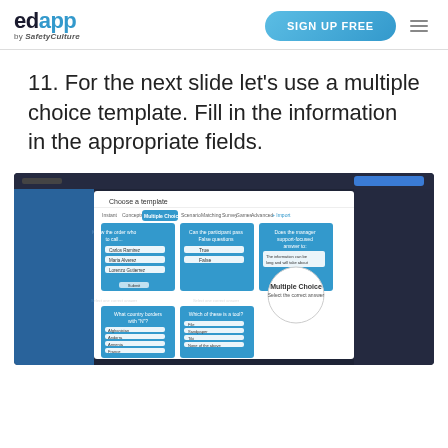[Figure (logo): EdApp by SafetyCulture logo in top left]
[Figure (other): Sign Up Free button and hamburger menu in top right]
11. For the next slide let’s use a multiple choice template. Fill in the information in the appropriate fields.
[Figure (screenshot): Screenshot of EdApp template chooser showing Multiple Choice templates selected, with various quiz template cards displayed in a modal dialog over the app interface]